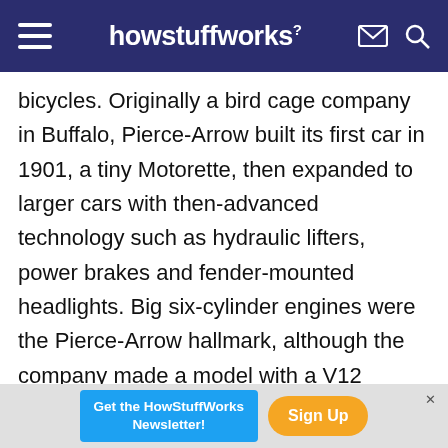howstuffworks
bicycles. Originally a bird cage company in Buffalo, Pierce-Arrow built its first car in 1901, a tiny Motorette, then expanded to larger cars with then-advanced technology such as hydraulic lifters, power brakes and fender-mounted headlights. Big six-cylinder engines were the Pierce-Arrow hallmark, although the company made a model with a V12 engine that set speed records. Pierce-Arrow merged with Studebaker in the 1930s, but sales declined until the last car rolled off the assembly line in 1938, a victim of the Great Depression.
Get the HowStuffWorks Newsletter! Sign Up